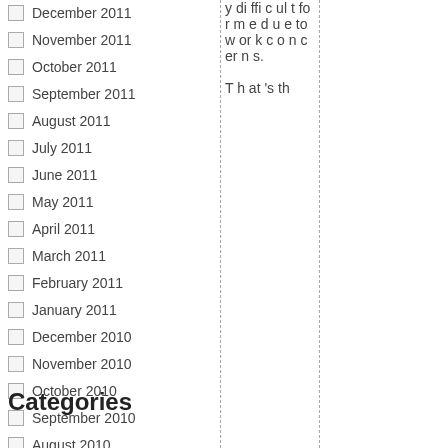December 2011
November 2011
October 2011
September 2011
August 2011
July 2011
June 2011
May 2011
April 2011
March 2011
February 2011
January 2011
December 2010
November 2010
October 2010
September 2010
August 2010
July 2010
June 2010
May 2010
April 2010
March 2010
February 2010
January 2010
January 2000
y difficult for me due to work concerns. That's th
Categories